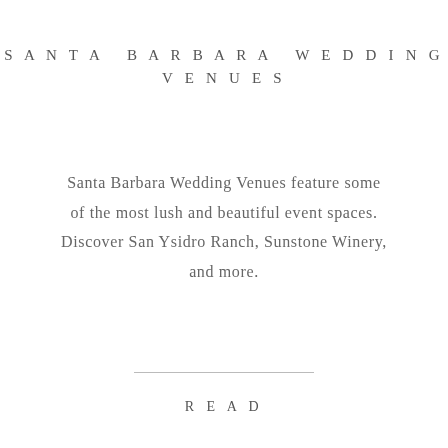SANTA BARBARA WEDDING VENUES
Santa Barbara Wedding Venues feature some of the most lush and beautiful event spaces. Discover San Ysidro Ranch, Sunstone Winery, and more.
READ